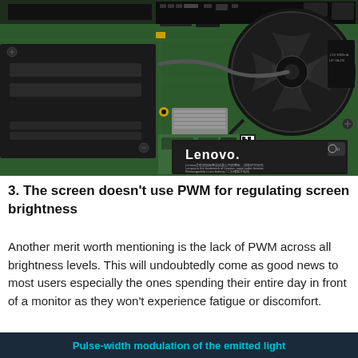[Figure (photo): Interior view of a Lenovo laptop showing the green PCB motherboard with a large black cooling fan on the right, black battery cover on the left with slots, a heatsink in the center, small PCB components, and a Lenovo brand label in the lower right corner.]
3. The screen doesn't use PWM for regulating screen brightness
Another merit worth mentioning is the lack of PWM across all brightness levels. This will undoubtedly come as good news to most users especially the ones spending their entire day in front of a monitor as they won't experience fatigue or discomfort.
Pulse-width modulation of the emitted light